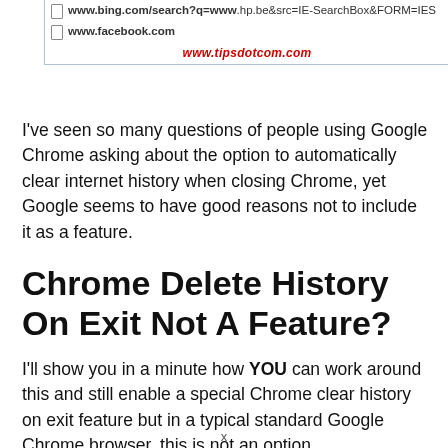[Figure (screenshot): Browser address bar screenshot showing two URLs: www.bing.com/search?q=www.hp.be&src=IE-SearchBox&FORM=IES and www.facebook.com, with a red italic watermark www.tipsdotcom.com at the bottom]
I've seen so many questions of people using Google Chrome asking about the option to automatically clear internet history when closing Chrome, yet Google seems to have good reasons not to include it as a feature.
Chrome Delete History On Exit Not A Feature?
I'll show you in a minute how YOU can work around this and still enable a special Chrome clear history on exit feature but in a typical standard Google Chrome browser, this is not an option.